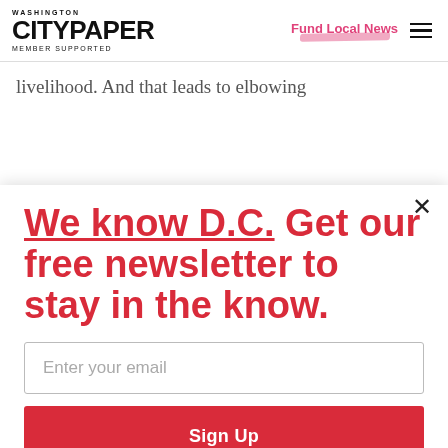WASHINGTON CITYPAPER MEMBER SUPPORTED | Fund Local News
livelihood. And that leads to elbowing
We know D.C. Get our free newsletter to stay in the know.
Enter your email
Sign Up
Unsubscribe any time.